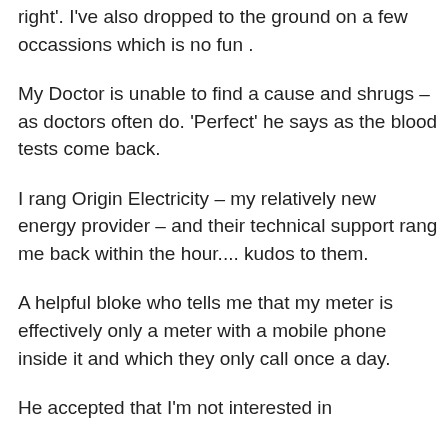happening to me – dizziness, ringing in the ears and a generalised sense of 'not quite feeling right'. I've also dropped to the ground on a few occassions which is no fun .
My Doctor is unable to find a cause and shrugs – as doctors often do. 'Perfect' he says as the blood tests come back.
I rang Origin Electricity – my relatively new energy provider – and their technical support rang me back within the hour.... kudos to them.
A helpful bloke who tells me that my meter is effectively only a meter with a mobile phone inside it and which they only call once a day.
He accepted that I'm not interested in